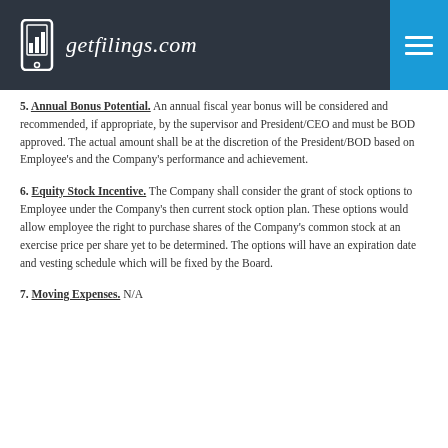getfilings.com
5. Annual Bonus Potential. An annual fiscal year bonus will be considered and recommended, if appropriate, by the supervisor and President/CEO and must be BOD approved. The actual amount shall be at the discretion of the President/BOD based on Employee's and the Company's performance and achievement.
6. Equity Stock Incentive. The Company shall consider the grant of stock options to Employee under the Company's then current stock option plan. These options would allow employee the right to purchase shares of the Company's common stock at an exercise price per share yet to be determined. The options will have an expiration date and vesting schedule which will be fixed by the Board.
7. Moving Expenses. N/A